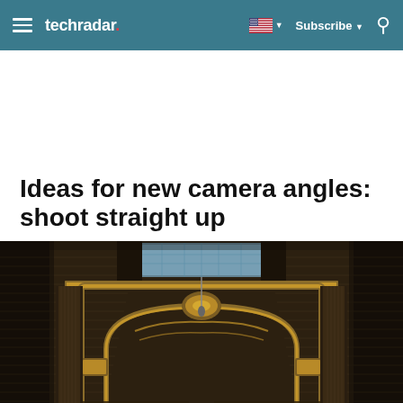techradar | Subscribe | Search
Ideas for new camera angles: shoot straight up
[Figure (photo): Looking straight up at an ornate classical interior ceiling with gilded decorative arch and a skylight, flanked by columns. Photo taken from below shooting upward.]